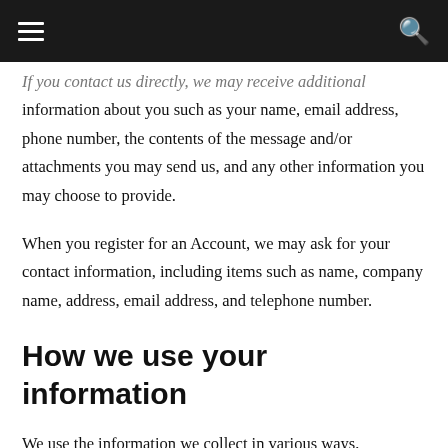If you contact us directly, we may receive additional information about you such as your name, email address, phone number, the contents of the message and/or attachments you may send us, and any other information you may choose to provide.
When you register for an Account, we may ask for your contact information, including items such as name, company name, address, email address, and telephone number.
How we use your information
We use the information we collect in various ways,